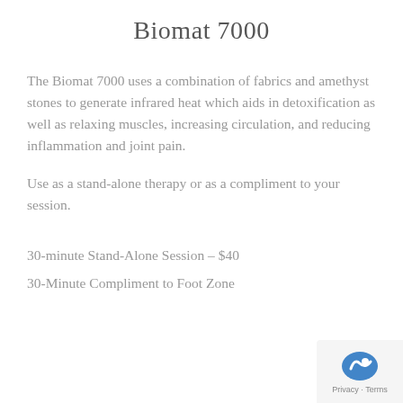Biomat 7000
The Biomat 7000 uses a combination of fabrics and amethyst stones to generate infrared heat which aids in detoxification as well as relaxing muscles, increasing circulation, and reducing inflammation and joint pain.
Use as a stand-alone therapy or as a compliment to your session.
30-minute Stand-Alone Session – $40
30-Minute Compliment to Foot Zone